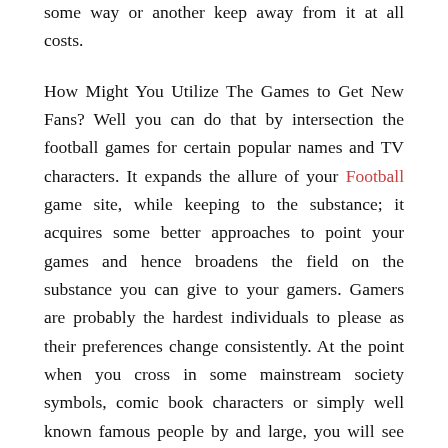some way or another keep away from it at all costs.
How Might You Utilize The Games to Get New Fans? Well you can do that by intersection the football games for certain popular names and TV characters. It expands the allure of your Football game site, while keeping to the substance; it acquires some better approaches to point your games and hence broadens the field on the substance you can give to your gamers. Gamers are probably the hardest individuals to please as their preferences change consistently. At the point when you cross in some mainstream society symbols, comic book characters or simply well known famous people by and large, you will see that even your no-nonsense fans will discover new degrees of fun inside your site. Each site needs to discover a trick or a capacity that sets them out from the a huge number of fan locales out there. You will